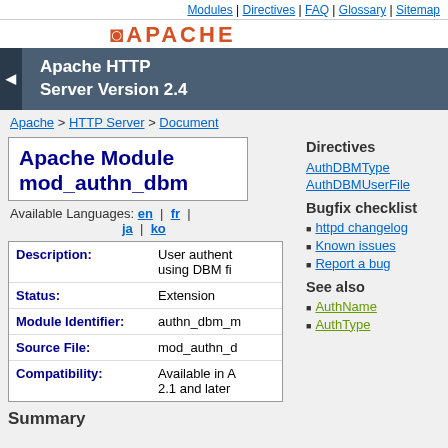Modules | Directives | FAQ | Glossary | Sitemap
Apache HTTP Server Version 2.4
Apache > HTTP Server > Document
Apache Module mod_authn_dbm
Available Languages: en | fr | ja | ko
Directives
AuthDBMType
AuthDBMUserFile
Bugfix checklist
httpd changelog
Known issues
Report a bug
See also
AuthName
AuthType
| Field | Value |
| --- | --- |
| Description: | User authentication using DBM files |
| Status: | Extension |
| Module Identifier: | authn_dbm_m |
| Source File: | mod_authn_d |
| Compatibility: | Available in A 2.1 and later |
Summary